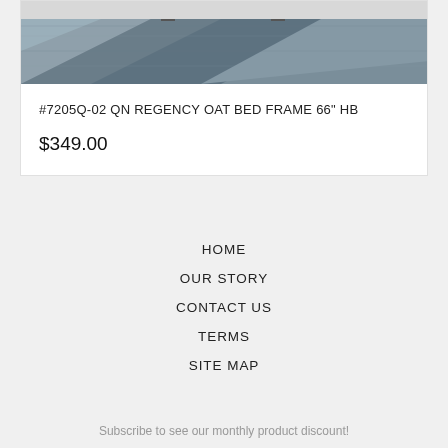[Figure (photo): Photo of a bed frame on a geometric patterned rug, partially cropped at top showing just the bottom portion of the bed and rug]
#7205Q-02 QN REGENCY OAT BED FRAME 66" HB
$349.00
HOME
OUR STORY
CONTACT US
TERMS
SITE MAP
Subscribe to see our monthly product discount!